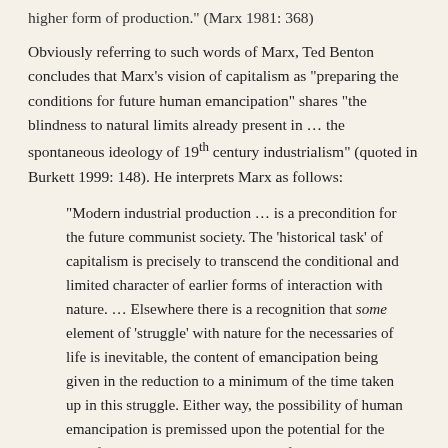higher form of production." (Marx 1981: 368)
Obviously referring to such words of Marx, Ted Benton concludes that Marx's vision of capitalism as "preparing the conditions for future human emancipation" shares "the blindness to natural limits already present in … the spontaneous ideology of 19th century industrialism" (quoted in Burkett 1999: 148). He interprets Marx as follows:
"Modern industrial production … is a precondition for the future communist society. The 'historical task' of capitalism is precisely to transcend the conditional and limited character of earlier forms of interaction with nature. … Elsewhere there is a recognition that some element of 'struggle' with nature for the necessaries of life is inevitable, the content of emancipation being given in the reduction to a minimum of the time taken up in this struggle. Either way, the possibility of human emancipation is premissed upon the potential for the transformative, productive powers of associated human beings to transcend apparent natural limits, and to widen the field of play for human intentionality." (quoted in: ibid.)